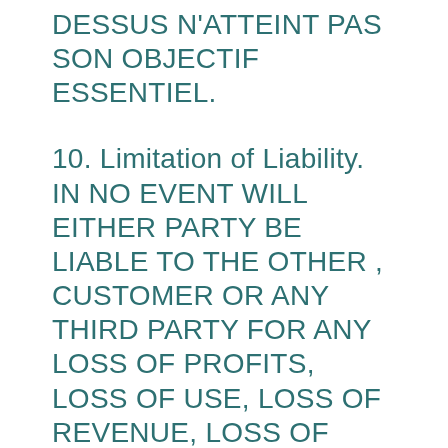DESSUS N'ATTEINT PAS SON OBJECTIF ESSENTIEL.
10. Limitation of Liability. IN NO EVENT WILL EITHER PARTY BE LIABLE TO THE OTHER , CUSTOMER OR ANY THIRD PARTY FOR ANY LOSS OF PROFITS, LOSS OF USE, LOSS OF REVENUE, LOSS OF GOODWILL, ANY INTERRUPTION OF BUSINESS, OR FOR ANY INDIRECT, SPECIAL, INCIDENTAL, EXEMPLARY, PUNITIVE OR CONSEQUENTIAL DAMAGES OF ANY KIND ARISING OUT OF OR IN CONNECTION WITH THIS AGREEMENT OR ANY PRODUCTS, SERVICES OR MYWORKDRIVE APPLICATIONS PROVIDED BY MYWORKDRIVE, INCLUDING THE MYWORKDRIVE PLATFORM. REGARDLESS